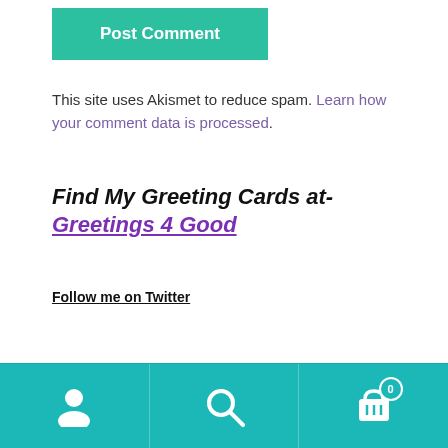[Figure (other): Green 'Post Comment' button]
This site uses Akismet to reduce spam. Learn how your comment data is processed.
Find My Greeting Cards at- Greetings 4 Good
Follow me on Twitter
[Figure (other): Bottom navigation bar with user icon, search icon, and cart icon with badge showing 0]